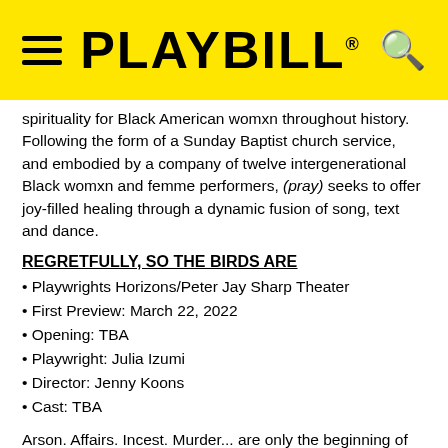PLAYBILL
spirituality for Black American womxn throughout history. Following the form of a Sunday Baptist church service, and embodied by a company of twelve intergenerational Black womxn and femme performers, (pray) seeks to offer joy-filled healing through a dynamic fusion of song, text and dance.
REGRETFULLY, SO THE BIRDS ARE
• Playwrights Horizons/Peter Jay Sharp Theater
• First Preview: March 22, 2022
• Opening: TBA
• Playwright: Julia Izumi
• Director: Jenny Koons
• Cast: TBA
Arson. Affairs. Incest. Murder... are only the beginning of problems for the Whistler siblings. Mara's gotta find her